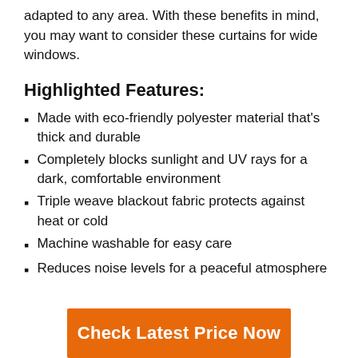…adapted to any area. With these benefits in mind, you may want to consider these curtains for wide windows.
Highlighted Features:
Made with eco-friendly polyester material that's thick and durable
Completely blocks sunlight and UV rays for a dark, comfortable environment
Triple weave blackout fabric protects against heat or cold
Machine washable for easy care
Reduces noise levels for a peaceful atmosphere
Check Latest Price Now